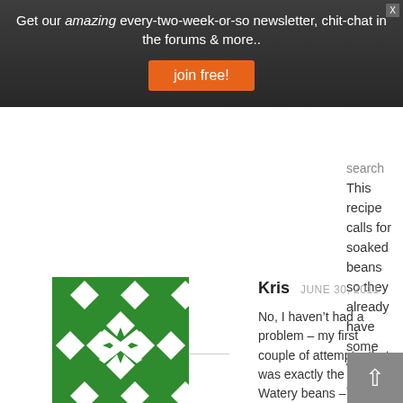Get our amazing every-two-week-or-so newsletter, chit-chat in the forums & more..
join free!
This recipe calls for soaked beans so they already have some water absorbed so don’t need as much for cooking.
REPLY
[Figure (illustration): Green and white decorative geometric avatar icon with diamond and cross pattern]
Kris  JUNE 30, 2011
No, I haven’t had a problem – my first couple of attempts, that was exactly the issue. Watery beans – blech! I’ve been cooking plain beans with just enough water to cover by an inch or so, and, as you said, there are plenty of other